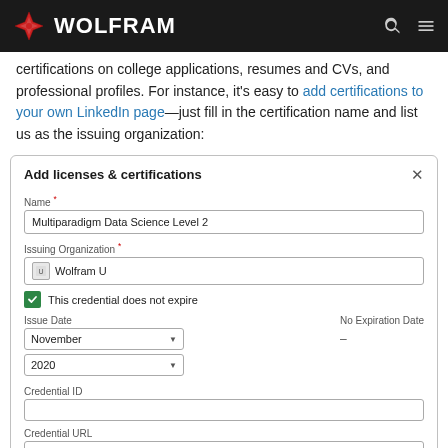WOLFRAM
certifications on college applications, resumes and CVs, and professional profiles. For instance, it's easy to add certifications to your own LinkedIn page—just fill in the certification name and list us as the issuing organization:
[Figure (screenshot): LinkedIn 'Add licenses & certifications' dialog screenshot showing Name field filled with 'Multiparadigm Data Science Level 2', Issuing Organization field showing 'Wolfram U', 'This credential does not expire' checkbox checked, Issue Date set to November 2020, No Expiration Date showing dash, empty Credential ID field, and empty Credential URL field.]